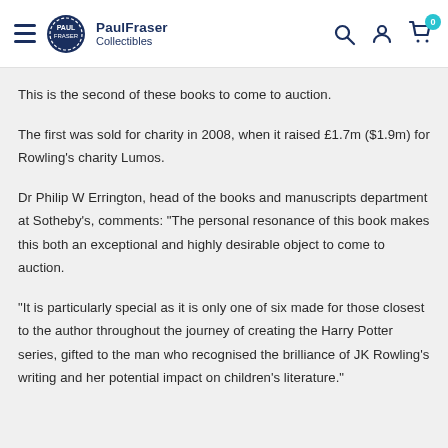PaulFraser Collectibles
This is the second of these books to come to auction.
The first was sold for charity in 2008, when it raised £1.7m ($1.9m) for Rowling's charity Lumos.
Dr Philip W Errington, head of the books and manuscripts department at Sotheby's, comments: "The personal resonance of this book makes this both an exceptional and highly desirable object to come to auction.
"It is particularly special as it is only one of six made for those closest to the author throughout the journey of creating the Harry Potter series, gifted to the man who recognised the brilliance of JK Rowling's writing and her potential impact on children's literature."